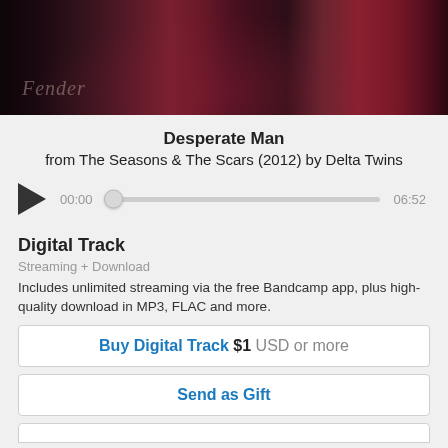[Figure (photo): Concert/stage photo showing a musician's lower body with guitars, amplifiers including a Fender amp, against a brick wall background. Dark reddish tones.]
Desperate Man
from The Seasons & The Scars (2012) by Delta Twins
[Figure (other): Audio player with play button, time display 00:00, slider bar, and end time 06:52]
Digital Track
Streaming + Download
Includes unlimited streaming via the free Bandcamp app, plus high-quality download in MP3, FLAC and more.
Buy Digital Track  $1  USD  or more
Send as Gift